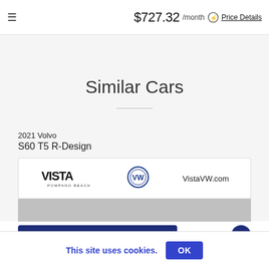$727.32 /month  Price Details
Similar Cars
2021 Volvo
S60 T5 R-Design
[Figure (logo): Vista Pompano Beach dealership logo with Volkswagen roundel and VistaVW.com text]
This site uses cookies.
OK